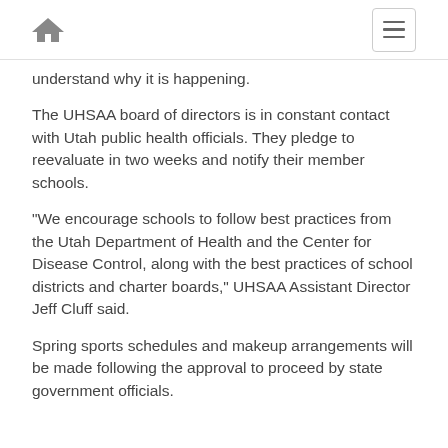[home icon] [menu button]
understand why it is happening.
The UHSAA board of directors is in constant contact with Utah public health officials. They pledge to reevaluate in two weeks and notify their member schools.
“We encourage schools to follow best practices from the Utah Department of Health and the Center for Disease Control, along with the best practices of school districts and charter boards,” UHSAA Assistant Director Jeff Cluff said.
Spring sports schedules and makeup arrangements will be made following the approval to proceed by state government officials.